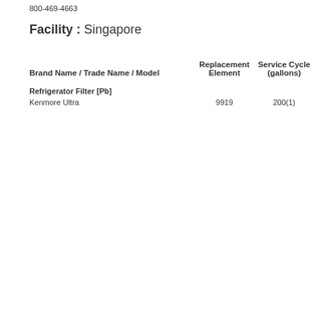800-469-4663
Facility : Singapore
| Brand Name / Trade Name / Model | Replacement Element | Service Cycle (gallons) |
| --- | --- | --- |
| Refrigerator Filter [Pb] |  |  |
| Kenmore Ultra | 9919 | 200(1) |